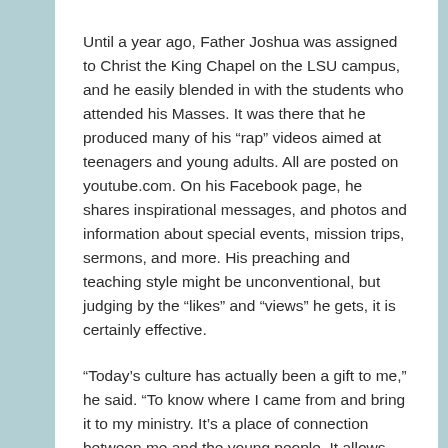Until a year ago, Father Joshua was assigned to Christ the King Chapel on the LSU campus, and he easily blended in with the students who attended his Masses. It was there that he produced many of his “rap” videos aimed at teenagers and young adults. All are posted on youtube.com. On his Facebook page, he shares inspirational messages, and photos and information about special events, mission trips, sermons, and more. His preaching and teaching style might be unconventional, but judging by the “likes” and “views” he gets, it is certainly effective.
“Today’s culture has actually been a gift to me,” he said. “To know where I came from and bring it to my ministry. It’s a place of connection between me and the young people. It allows me to walk with them as they learn to pray and to love Jesus. I encounter people who wanted nothing to do